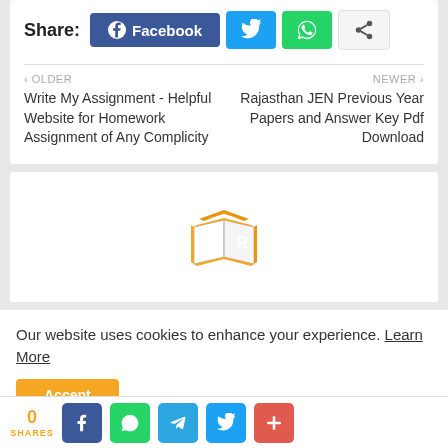Share:
Facebook
OLDER
Write My Assignment - Helpful Website for Homework Assignment of Any Complicity
NEWER >
Rajasthan JEN Previous Year Papers and Answer Key Pdf Download
[Figure (logo): ER logo - orange book with cap icon and letters E and R]
Our website uses cookies to enhance your experience. Learn More
Accept
0
SHARES